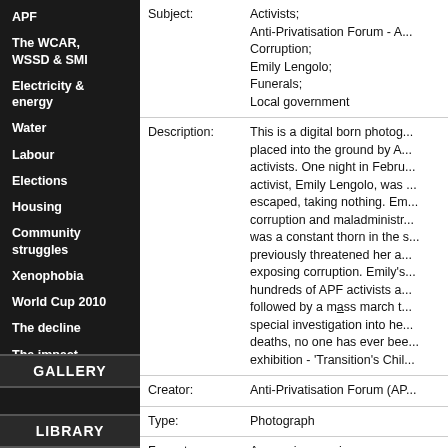APF
The WCAR, WSSD & SMI
Electricity & energy
Water
Labour
Elections
Housing
Community struggles
Xenophobia
World Cup 2010
The decline
The impact
GALLERY
LIBRARY
| Field | Value |
| --- | --- |
| Subject: | Activists; Anti-Privatisation Forum - A... Corruption; Emily Lengolo; Funerals; Local government |
| Description: | This is a digital born photog... placed into the ground by A... activists. One night in Febru... activist, Emily Lengolo, was ... escaped, taking nothing. Em... corruption and maladministr... was a constant thorn in the s... previously threatened her a... exposing corruption. Emily's... hundreds of APF activists a... followed by a mass march t... special investigation into he... deaths, no one has ever bee... exhibition - 'Transition's Chil... |
| Creator: | Anti-Privatisation Forum (AP... |
| Type: | Photograph |
| Format: | Access image - jpeg |
| Source: | SAHA collection AL3290 |
| Coverage: | South Africa |
| Rights: | Anti-Privatisation Forum (AP... |